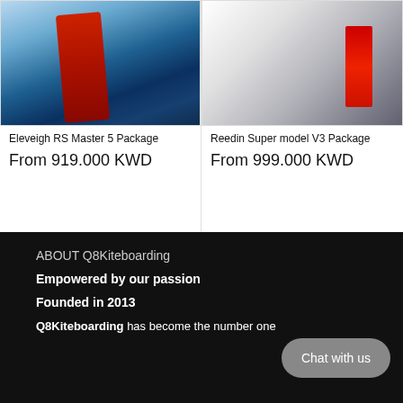[Figure (photo): Product image of Eleveigh RS Master 5 Package - kiteboarding equipment with blue/teal coloring]
Eleveigh RS Master 5 Package
From 919.000 KWD
[Figure (photo): Product image of Reedin Super model V3 Package - kiteboarding equipment with red and black coloring]
Reedin Super model V3 Package
From 999.000 KWD
ABOUT Q8Kiteboarding
Empowered by our passion
Founded in 2013
Q8Kiteboarding has become the number one